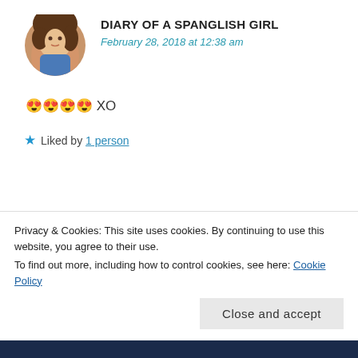[Figure (photo): Circular avatar photo of a woman with brown hair]
DIARY OF A SPANGLISH GIRL
February 28, 2018 at 12:38 am
😍😍😍😍 XO
★ Liked by 1 person
[Figure (photo): Circular avatar photo of a couple]
ARTHRITISFIGHTERLEANN
March 2, 2018 at 12:15
Privacy & Cookies: This site uses cookies. By continuing to use this website, you agree to their use.
To find out more, including how to control cookies, see here: Cookie Policy
Close and accept